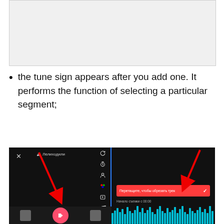[Figure (screenshot): Top screenshot showing a mobile app interface (partially visible, top portion of a previous step)]
the tune sign appears after you add one. It performs the function of selecting a particular segment;
[Figure (screenshot): Mobile app screenshot split into two panels. Left panel shows a dark video editing interface with an X button, music note icon labeled in Russian (Лелиходили), and a column of editing icons on the right side including effects, stickers, color, timer, music (highlighted), and grid. Red arrow points to the music icon. Right panel shows a dark audio track editing screen with a red 'Перетащите, чтобы обрезать трек' (Drag to trim track) button with a checkmark, text 'Начало съемки с 00:00' (Start of filming from 00:00), and a teal-colored waveform bar chart at the bottom. Red arrow points down to the trim control.]